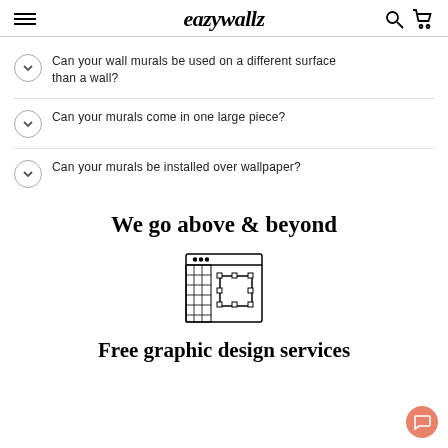eazywallz — navigation header with hamburger menu, logo, search and cart icons
Can your wall murals be used on a different surface than a wall?
Can your murals come in one large piece?
Can your murals be installed over wallpaper?
We go above & beyond
[Figure (illustration): Graphic design software icon — a browser/window frame with a grid and a bounding box (vector select) tool inside]
Free graphic design services